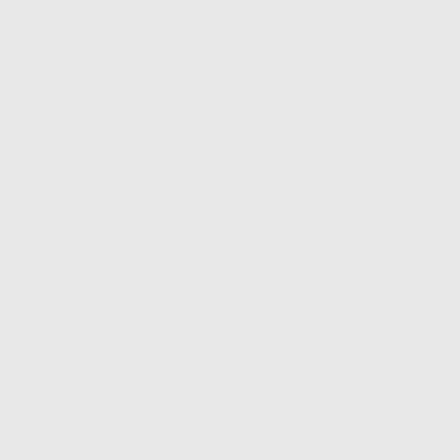serving the entire pu quarter could not th Perhaps most remar preserve the Jewish out in his excellent s the ambiguous word that enjoy a societal generation▪ and mig customs and values.
Not all the blame for atzeres hatefillah, for provisions in the ne by the general press. never tried to explai Zicherman argues, t efforts were pointles Judaism could neve